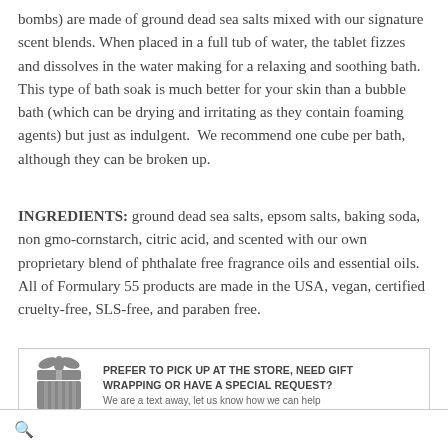bombs) are made of ground dead sea salts mixed with our signature scent blends. When placed in a full tub of water, the tablet fizzes and dissolves in the water making for a relaxing and soothing bath. This type of bath soak is much better for your skin than a bubble bath (which can be drying and irritating as they contain foaming agents) but just as indulgent. We recommend one cube per bath, although they can be broken up.
INGREDIENTS: ground dead sea salts, epsom salts, baking soda, non gmo-cornstarch, citric acid, and scented with our own proprietary blend of phthalate free fragrance oils and essential oils. All of Formulary 55 products are made in the USA, vegan, certified cruelty-free, SLS-free, and paraben free.
[Figure (infographic): Gift box icon (gray) with ribbon, representing store pickup or gift wrapping offer]
PREFER TO PICK UP AT THE STORE, NEED GIFT WRAPPING OR HAVE A SPECIAL REQUEST? We are a text away, let us know how we can help.